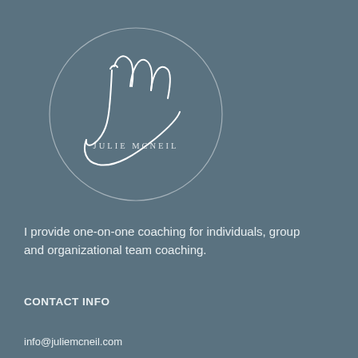[Figure (logo): Julie McNeil coaching logo: circular outline with cursive 'jm' monogram and 'JULIE MCNEIL' text below]
I provide one-on-one coaching for individuals, group and organizational team coaching.
CONTACT INFO
info@juliemcneil.com